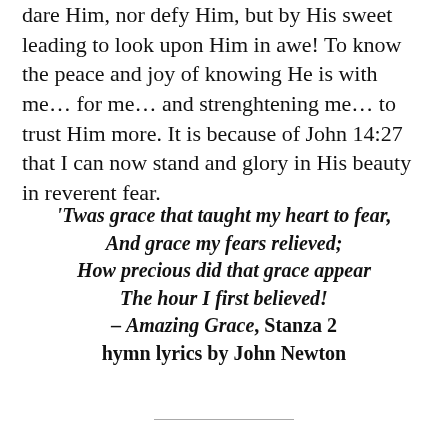dare Him, nor defy Him, but by His sweet leading to look upon Him in awe! To know the peace and joy of knowing He is with me… for me… and strenghtening me… to trust Him more. It is because of John 14:27 that I can now stand and glory in His beauty in reverent fear.
'Twas grace that taught my heart to fear,
And grace my fears relieved;
How precious did that grace appear
The hour I first believed!
– Amazing Grace, Stanza 2
hymn lyrics by John Newton